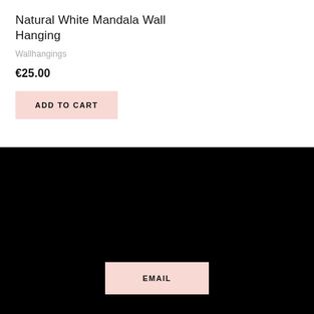Natural White Mandala Wall Hanging
Wallhangings
€25.00
ADD TO CART
EMAIL